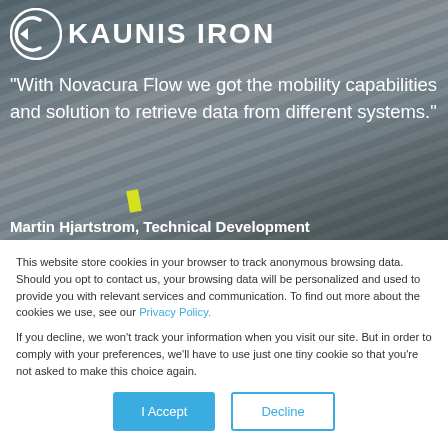[Figure (logo): Kaunis Iron logo with circular arrow icon and company name in white text on dark background]
“With Novacura Flow we got the mobility capabilities and solution to retrieve data from different systems.”
Martin Hjartstrom, Technical Development
This website store cookies in your browser to track anonymous browsing data. Should you opt to contact us, your browsing data will be personalized and used to provide you with relevant services and communication. To find out more about the cookies we use, see our Privacy Policy.
If you decline, we won’t track your information when you visit our site. But in order to comply with your preferences, we’ll have to use just one tiny cookie so that you’re not asked to make this choice again.